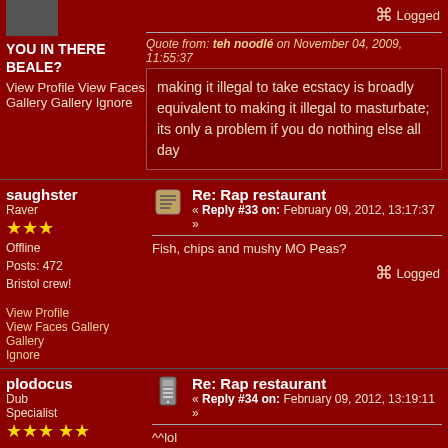YOU IN THERE BEALE?
Logged
Quote from: teh noodlé on November 04, 2009, 11:55:37
making it illegal to take ecstacy is broadly equivalent to making it illegal to masturbate; its only a problem if you do nothing else all day
View Profile
View Faces Gallery
Ignore
saughster
Raver
Offline
Posts: 472
Bristol crew!
Re: Rap restaurant
« Reply #33 on: February 09, 2012, 13:17:37 »
Fish, chips and mushy MO Peas?
View Profile
View Faces Gallery
Ignore
Logged
plodocus
Dub Specialist
Re: Rap restaurant
« Reply #34 on: February 09, 2012, 13:19:11 »
^^lol